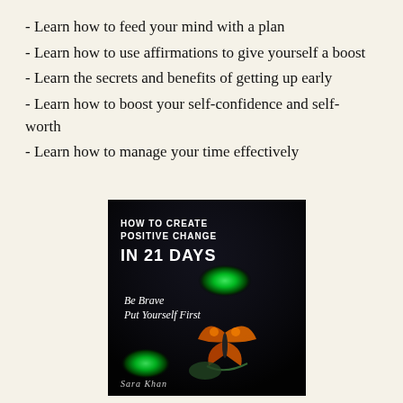- Learn how to feed your mind with a plan
- Learn how to use affirmations to give yourself a boost
- Learn the secrets and benefits of getting up early
- Learn how to boost your self-confidence and self-worth
- Learn how to manage your time effectively
[Figure (photo): Book cover of 'How to Create Positive Change in 21 Days' by Sara Khan. Dark background with green orbs and a monarch butterfly. Subtitle: Be Brave Put Yourself First.]